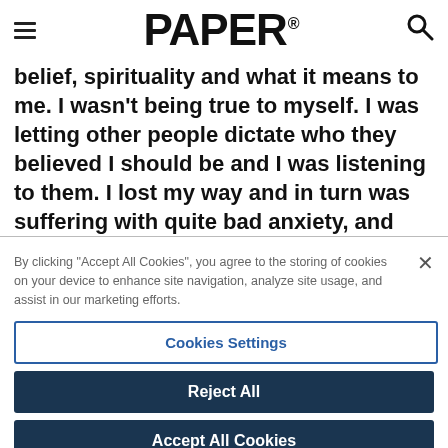PAPER®
belief, spirituality and what it means to me. I wasn't being true to myself. I was letting other people dictate who they believed I should be and I was listening to them. I lost my way and in turn was suffering with quite bad anxiety, and allowing it filter into my relationship with family and friends, my work life, and just life in general. The good in what I
By clicking "Accept All Cookies", you agree to the storing of cookies on your device to enhance site navigation, analyze site usage, and assist in our marketing efforts.
Cookies Settings
Reject All
Accept All Cookies